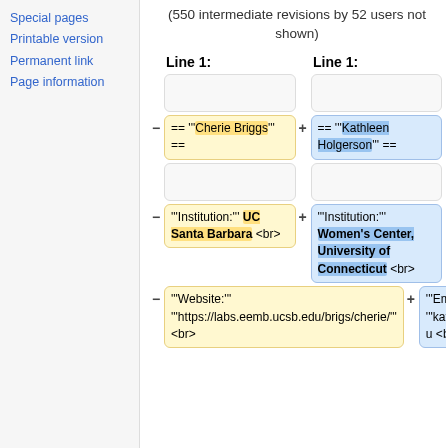Special pages
Printable version
Permanent link
Page information
(550 intermediate revisions by 52 users not shown)
Line 1: (left) vs Line 1: (right) - diff view showing wiki markup differences between Cherie Briggs and Kathleen Holgerson entries